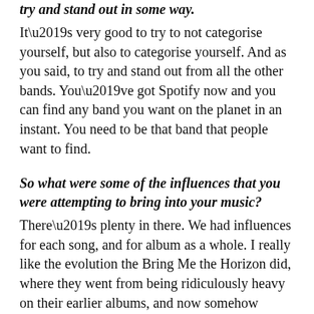try and stand out in some way.
It’s very good to try to not categorise yourself, but also to categorise yourself. And as you said, to try and stand out from all the other bands. You’ve got Spotify now and you can find any band you want on the planet in an instant. You need to be that band that people want to find.
So what were some of the influences that you were attempting to bring into your music?
There’s plenty in there. We had influences for each song, and for album as a whole. I really like the evolution the Bring Me the Horizon did, where they went from being ridiculously heavy on their earlier albums, and now somehow they’re a stadium band. It’s really crazy. And then you have bands like Twelve